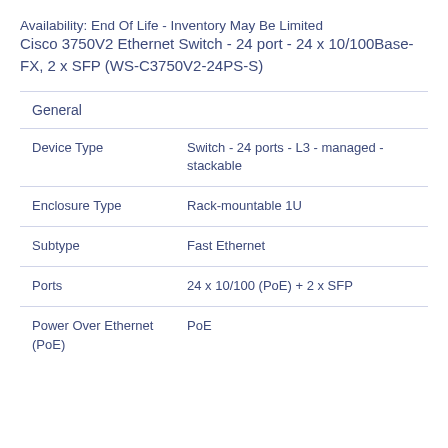Availability: End Of Life - Inventory May Be Limited
Cisco 3750V2 Ethernet Switch - 24 port - 24 x 10/100Base-FX, 2 x SFP (WS-C3750V2-24PS-S)
General
| Attribute | Value |
| --- | --- |
| Device Type | Switch - 24 ports - L3 - managed - stackable |
| Enclosure Type | Rack-mountable 1U |
| Subtype | Fast Ethernet |
| Ports | 24 x 10/100 (PoE) + 2 x SFP |
| Power Over Ethernet (PoE) | PoE |